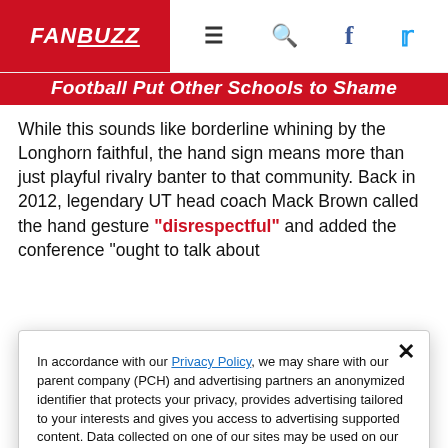FANBUZZ
Football Put Other Schools to Shame
While this sounds like borderline whining by the Longhorn faithful, the hand sign means more than just playful rivalry banter to that community. Back in 2012, legendary UT head coach Mack Brown called the hand gesture "disrespectful" and added the conference "ought to talk about
In accordance with our Privacy Policy, we may share with our parent company (PCH) and advertising partners an anonymized identifier that protects your privacy, provides advertising tailored to your interests and gives you access to advertising supported content. Data collected on one of our sites may be used on our other owned and operated sites, which sites are identified in our Privacy Policy. All of our sites are governed by the same Privacy Policy, and by proceeding to access this site, you are consenting to that Privacy Policy.